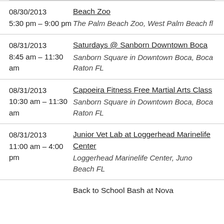08/30/2013 | 5:30 pm – 9:00 pm | Beach Zoo | The Palm Beach Zoo, West Palm Beach fl
08/31/2013 | 8:45 am – 11:30 am | Saturdays @ Sanborn Downtown Boca | Sanborn Square in Downtown Boca, Boca Raton FL
08/31/2013 | 10:30 am – 11:30 am | Capoeira Fitness Free Martial Arts Class | Sanborn Square in Downtown Boca, Boca Raton FL
08/31/2013 | 11:00 am – 4:00 pm | Junior Vet Lab at Loggerhead Marinelife Center | Loggerhead Marinelife Center, Juno Beach FL
Back to School Bash at Nova